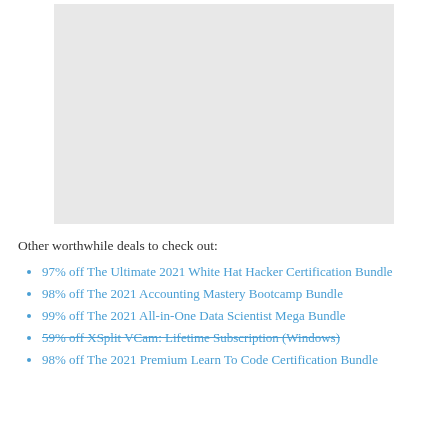[Figure (photo): Gray placeholder image rectangle at top of page]
Other worthwhile deals to check out:
97% off The Ultimate 2021 White Hat Hacker Certification Bundle
98% off The 2021 Accounting Mastery Bootcamp Bundle
99% off The 2021 All-in-One Data Scientist Mega Bundle
59% off XSplit VCam: Lifetime Subscription (Windows)
98% off The 2021 Premium Learn To Code Certification Bundle